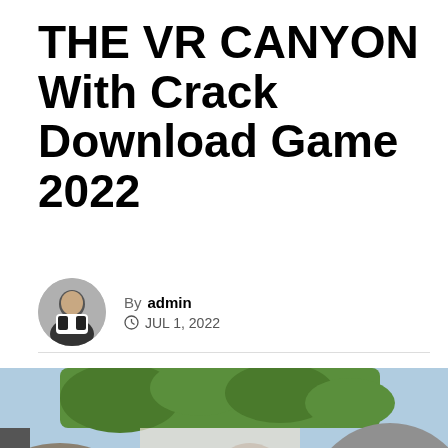THE VR CANYON With Crack Download Game 2022
By admin
JUL 1, 2022
[Figure (photo): Canyon scene with large rock formations and trees, with THE VR CANYON game logo overlay showing 'THE VR CANYON' text with a pink vertical bar between VR and CANYON]